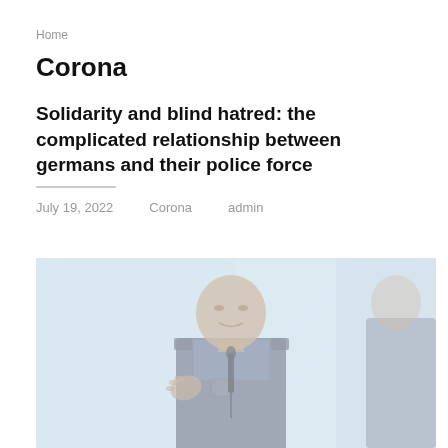Home
Corona
Solidarity and blind hatred: the complicated relationship between germans and their police force
July 19, 2022   Corona   admin
[Figure (photo): A police officer in uniform sitting at a table with a microphone, gesturing with one hand while speaking at a press conference. The image has a faded, light-blue tinted appearance.]